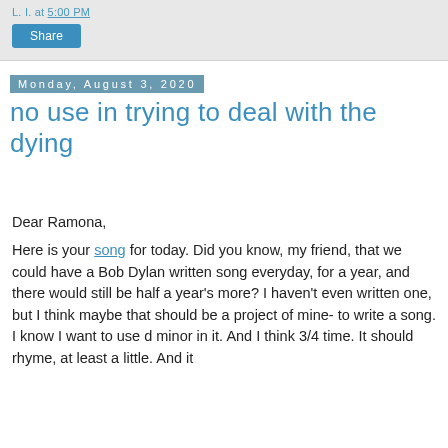L. I. at 5:00 PM
Share
Monday, August 3, 2020
no use in trying to deal with the dying
Dear Ramona,
Here is your song for today.  Did you know, my friend, that we could have a Bob Dylan written song everyday, for a year, and there would still be half a year's more?   I haven't even written one, but I think maybe that should be a project of mine- to write a song.  I know I want to use d minor in it.  And I think 3/4 time.  It should rhyme, at least a little.  And it